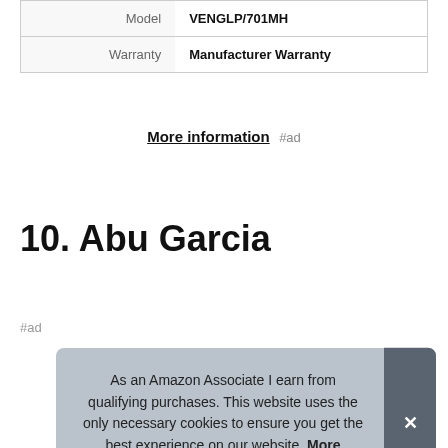|  |  |
| --- | --- |
| Model | VENGLP/701MH |
| Warranty | Manufacturer Warranty |
More information #ad
10. Abu Garcia
#ad
As an Amazon Associate I earn from qualifying purchases. This website uses the only necessary cookies to ensure you get the best experience on our website. More information